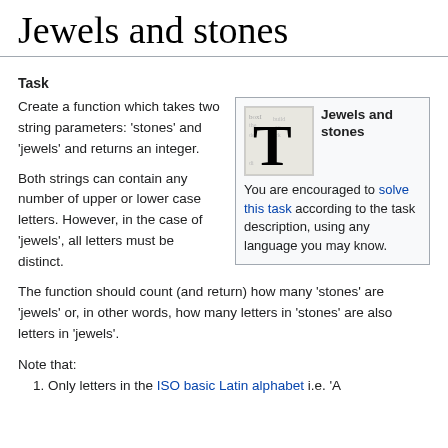Jewels and stones
Task
[Figure (illustration): Box with letter T and text overlay, next to 'Jewels and stones' infobox with text: You are encouraged to solve this task according to the task description, using any language you may know.]
Create a function which takes two string parameters: 'stones' and 'jewels' and returns an integer.
Both strings can contain any number of upper or lower case letters. However, in the case of 'jewels', all letters must be distinct.
The function should count (and return) how many 'stones' are 'jewels' or, in other words, how many letters in 'stones' are also letters in 'jewels'.
Note that:
Only letters in the ISO basic Latin alphabet i.e. 'A